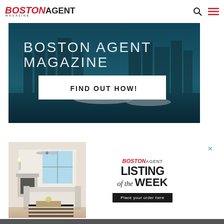BOSTON AGENT MAGAZINE
[Figure (screenshot): Boston Agent Magazine banner advertisement with city skyline background showing 'BOSTON AGENT MAGAZINE' text and a white button 'FIND OUT HOW!']
[Figure (photo): Interior photo of a luxurious living room with white sofas, black and white striped rug, fireplace, and large windows]
[Figure (infographic): Boston Agent Listing of the Week advertisement panel with logo, 'LISTING of the WEEK' text, and 'Place your order here' dark button]